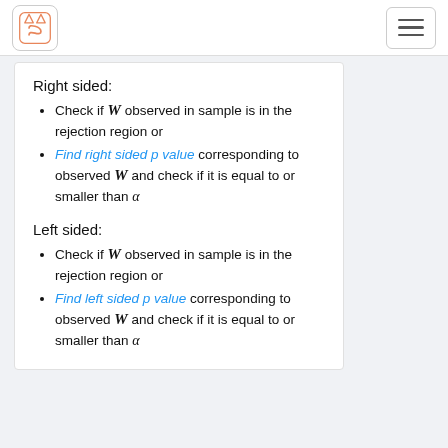Navigation bar with logo and hamburger menu
Right sided:
Check if W observed in sample is in the rejection region or
Find right sided p value corresponding to observed W and check if it is equal to or smaller than α
Left sided:
Check if W observed in sample is in the rejection region or
Find left sided p value corresponding to observed W and check if it is equal to or smaller than α